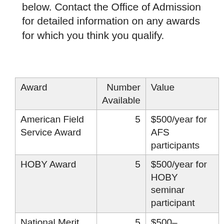below. Contact the Office of Admission for detailed information on any awards for which you think you qualify.
| Award | Number Available | Value |
| --- | --- | --- |
| American Field Service Award | 5 | $500/year for AFS participants |
| HOBY Award | 5 | $500/year for HOBY seminar participant |
| National Merit Award | 5 | $500–$2,000/year (need-based) |
| (Rhodes-sponsored) | 1 | $700–$1400/year |